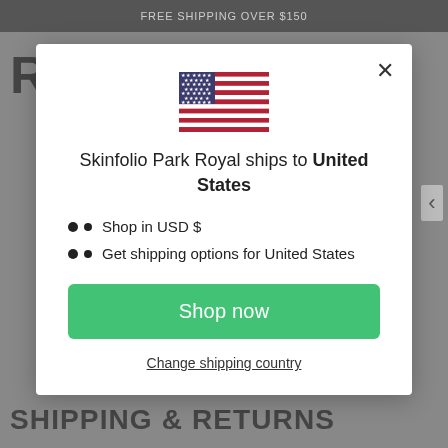FREE SHIPPING OVER $150
[Figure (screenshot): Modal dialog showing US flag and shipping options for Skinfolio Park Royal]
Skinfolio Park Royal ships to United States
Shop in USD $
Get shipping options for United States
Shop now
Change shipping country
SHIPPING & RETURNS